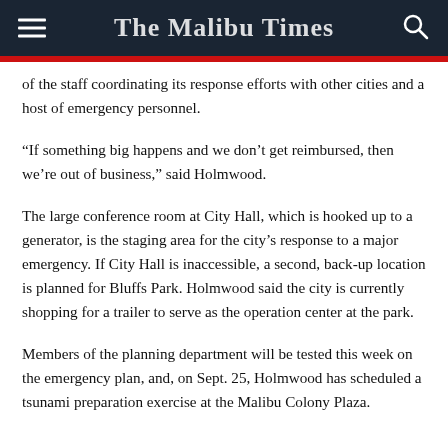The Malibu Times
of the staff coordinating its response efforts with other cities and a host of emergency personnel.
“If something big happens and we don’t get reimbursed, then we’re out of business,” said Holmwood.
The large conference room at City Hall, which is hooked up to a generator, is the staging area for the city’s response to a major emergency. If City Hall is inaccessible, a second, back-up location is planned for Bluffs Park. Holmwood said the city is currently shopping for a trailer to serve as the operation center at the park.
Members of the planning department will be tested this week on the emergency plan, and, on Sept. 25, Holmwood has scheduled a tsunami preparation exercise at the Malibu Colony Plaza.